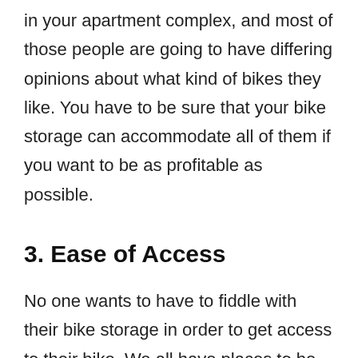in your apartment complex, and most of those people are going to have differing opinions about what kind of bikes they like. You have to be sure that your bike storage can accommodate all of them if you want to be as profitable as possible.
3. Ease of Access
No one wants to have to fiddle with their bike storage in order to get access to their bike. We all have places to be, whether that's work, a date, or just meeting up with some friends. If your bike storage is easy to access, your tenants will be more likely to want to use the...